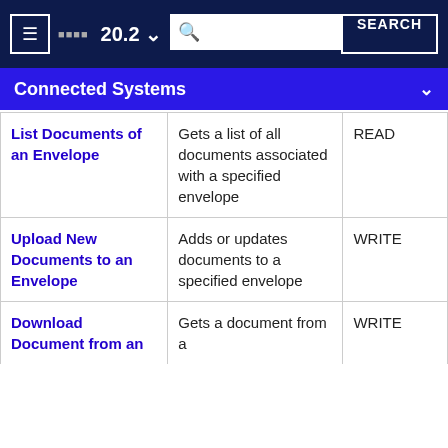20.2 | Connected Systems
| List Documents of an Envelope | Gets a list of all documents associated with a specified envelope | READ |
| Upload New Documents to an Envelope | Adds or updates documents to a specified envelope | WRITE |
| Download Document from an | Gets a document from a | WRITE |